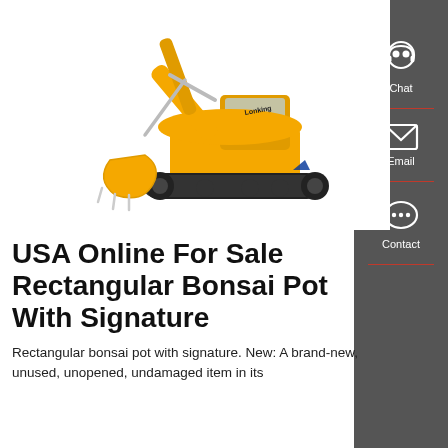[Figure (photo): Yellow Lonking excavator on white background, showing large articulated arm with bucket, tracked undercarriage, and operator cab.]
USA Online For Sale Rectangular Bonsai Pot With Signature
Rectangular bonsai pot with signature. New: A brand-new, unused, unopened, undamaged item in its